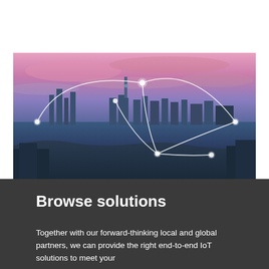[Figure (photo): Aerial cityscape of Auckland at dusk/dawn with purple and pink sky. White arc lines connect glowing nodes overlaid on the city, representing IoT or network connectivity.]
Browse solutions
Together with our forward-thinking local and global partners, we can provide the right end-to-end IoT solutions to meet your